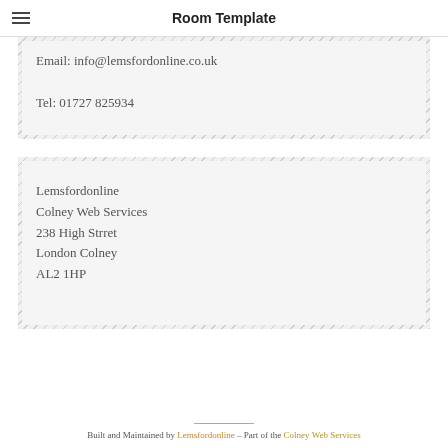Room Template
Email: info@lemsfordonline.co.uk

Tel: 01727 825934
Lemsfordonline
Colney Web Services
238 High Strret
London Colney
AL2 1HP
Built and Maintained by Lemsfordonline – Part of the Colney Web Services